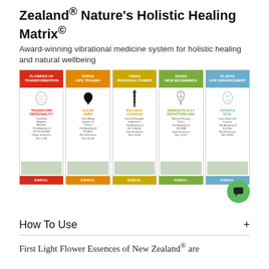Zealand® Nature's Holistic Healing Matrix©
Award-winning vibrational medicine system for holistic healing and natural wellbeing
[Figure (infographic): Five-column matrix showing healing categories: Flowers of Transformation (Transform Personality, red), Ferns Life Trauma (Clear Aura, orange), Trees Personal Power (Balance Chakras, yellow), Seeds New Beginnings (Energetically Repattern DNA, green), Plants Life Enhancement (Growth Soul, blue). Each column has a header, icon, descriptive text, device image, and ENROL button.]
How To Use
First Light Flower Essences of New Zealand® are